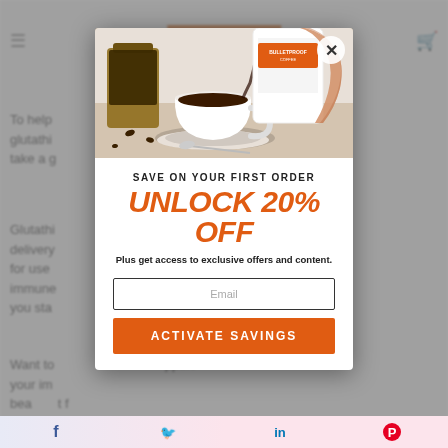[Figure (photo): Background webpage content showing text about glutathione and immune support, partially visible behind modal overlay]
[Figure (photo): Coffee cup being filled with liquid from a white container, coffee beans jar visible in background, product label visible on container]
SAVE ON YOUR FIRST ORDER
UNLOCK 20% OFF
Plus get access to exclusive offers and content.
Email
ACTIVATE SAVINGS